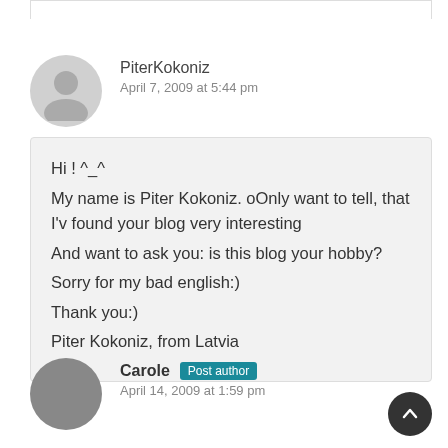PiterKokoniz
April 7, 2009 at 5:44 pm
Hi ! ^_^
My name is Piter Kokoniz. oOnly want to tell, that I'v found your blog very interesting
And want to ask you: is this blog your hobby?
Sorry for my bad english:)
Thank you:)
Piter Kokoniz, from Latvia
Carole  Post author
April 14, 2009 at 1:59 pm